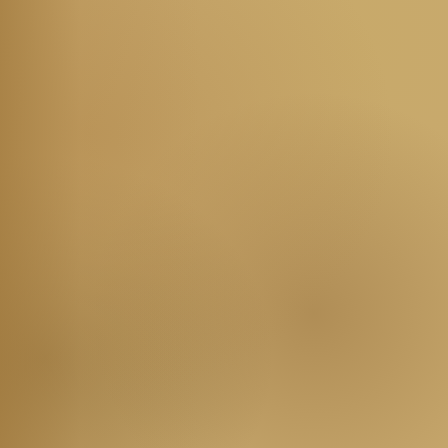Regarding a Woman vs. 25:11-12
Honest Weights and Me... 16
Command to Destroy th... 25:17-19
Presentation of Firstfrui...
The Third Year Tithe  2...
Follow the Lord's Comm...
The Altar and Tablets o...
Mount Ebal  27:1-10
Blessing from Mount G...
from Mount Ebal  27:1...